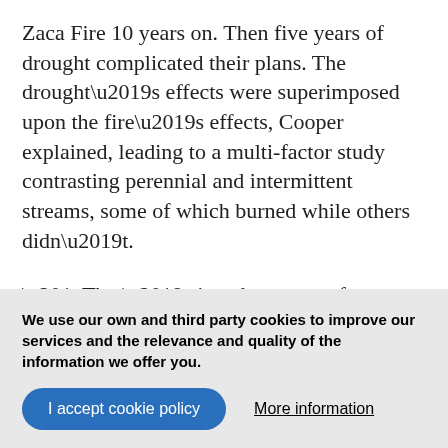Zaca Fire 10 years on. Then five years of drought complicated their plans. The drought’s effects were superimposed upon the fire’s effects, Cooper explained, leading to a multi-factor study contrasting perennial and intermittent streams, some of which burned while others didn’t.
“That’s just the nature of fieldwork,” said co-author Kristie Klose, Forest Fisheries Biologist for the Los Padres National Forest. “Things don’t always work out cleanly.”
We use our own and third party cookies to improve our services and the relevance and quality of the information we offer you.
I accept cookie policy
More information